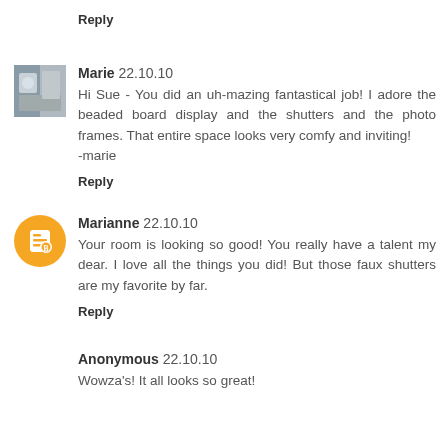Reply
Marie 22.10.10
Hi Sue - You did an uh-mazing fantastical job! I adore the beaded board display and the shutters and the photo frames. That entire space looks very comfy and inviting!
-marie
Reply
Marianne 22.10.10
Your room is looking so good! You really have a talent my dear. I love all the things you did! But those faux shutters are my favorite by far.
Reply
Anonymous 22.10.10
Wowza's! It all looks so great!